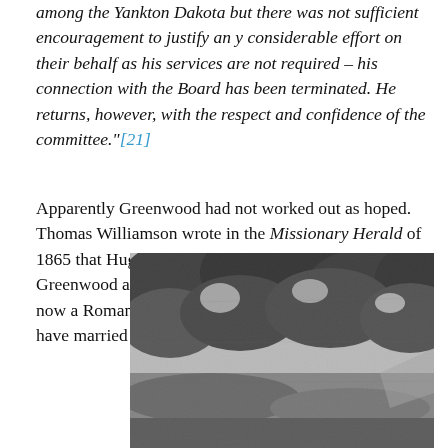among the Yankton Dakota but there was not sufficient encouragement to justify an y considerable effort on their behalf as his services are not required – his connection with the Board has been terminated. He returns, however, with the respect and confidence of the committee."[21]
Apparently Greenwood had not worked out as hoped. Thomas Williamson wrote in the Missionary Herald of 1865 that Hugh had suspended the school at Greenwood as of January 15 since the head chief is now a Romanist and there are French Romanists who have married Dakota women.[22]
[Figure (photo): Black and white photograph showing trees and a landscape scene, partially visible at bottom of page.]